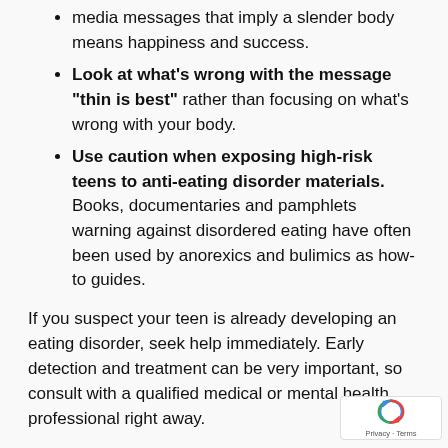media messages that imply a slender body means happiness and success.
Look at what's wrong with the message "thin is best" rather than focusing on what's wrong with your body.
Use caution when exposing high-risk teens to anti-eating disorder materials. Books, documentaries and pamphlets warning against disordered eating have often been used by anorexics and bulimics as how-to guides.
If you suspect your teen is already developing an eating disorder, seek help immediately. Early detection and treatment can be very important, so consult with a qualified medical or mental health professional right away.
Sources:
ANRED (Anorexia Nervosa and Related Eating Disorders)